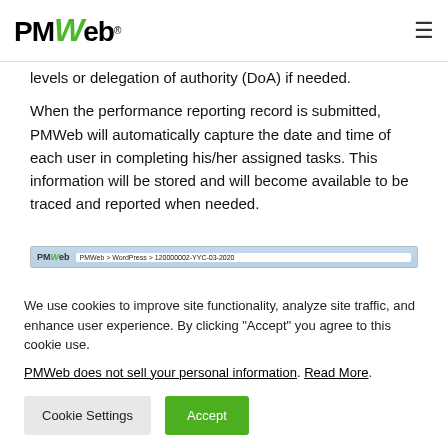PMWeb
levels or delegation of authority (DoA) if needed.
When the performance reporting record is submitted, PMWeb will automatically capture the date and time of each user in completing his/her assigned tasks. This information will be stored and will become available to be traced and reported when needed.
[Figure (screenshot): PMWeb application screenshot showing a browser navigation bar with PMWeb logo and interface elements]
We use cookies to improve site functionality, analyze site traffic, and enhance user experience. By clicking "Accept" you agree to this cookie use.
PMWed does not sell your personal information. Read More.